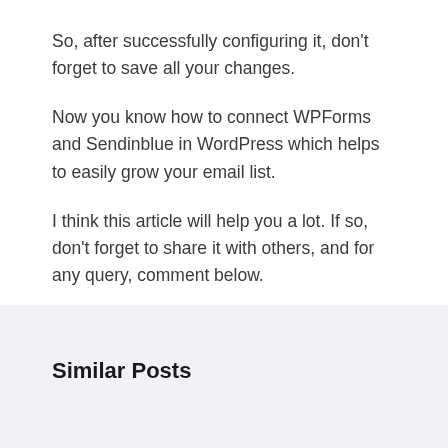So, after successfully configuring it, don't forget to save all your changes.
Now you know how to connect WPForms and Sendinblue in WordPress which helps to easily grow your email list.
I think this article will help you a lot. If so, don't forget to share it with others, and for any query, comment below.
Similar Posts